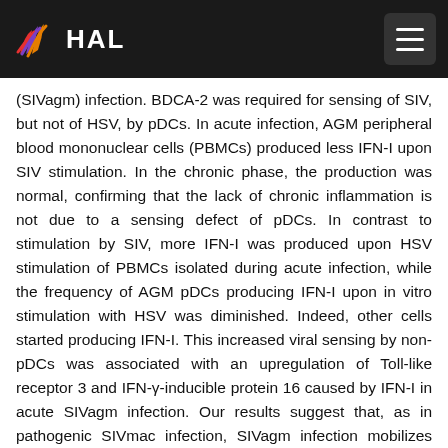HAL
(SIVagm) infection. BDCA-2 was required for sensing of SIV, but not of HSV, by pDCs. In acute infection, AGM peripheral blood mononuclear cells (PBMCs) produced less IFN-I upon SIV stimulation. In the chronic phase, the production was normal, confirming that the lack of chronic inflammation is not due to a sensing defect of pDCs. In contrast to stimulation by SIV, more IFN-I was produced upon HSV stimulation of PBMCs isolated during acute infection, while the frequency of AGM pDCs producing IFN-I upon in vitro stimulation with HSV was diminished. Indeed, other cells started producing IFN-I. This increased viral sensing by non-pDCs was associated with an upregulation of Toll-like receptor 3 and IFN-γ-inducible protein 16 caused by IFN-I in acute SIVagm infection. Our results suggest that, as in pathogenic SIVmac infection, SIVagm infection mobilizes bone marrow precursor pDCs. Moreover, we show that SIV infection modifies the capacity of viral sensing in cells other than pDCs, which could drive IFN-I production in specific settings. IMPORTANCE: The effects of HIV/SIV infections on the capacity of plasmacytoid dendritic cells (pDCs) to